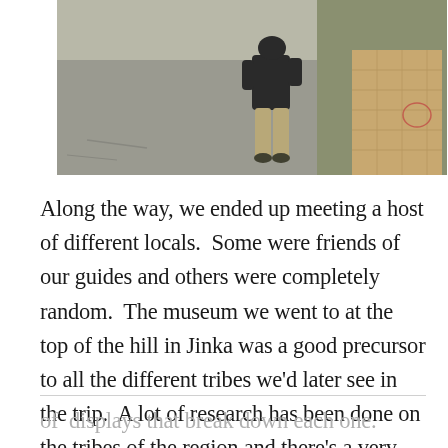[Figure (photo): A person standing on a road next to a brick or stone sidewalk/path, seen from behind, wearing a dark hoodie and khaki pants. Road and grassy area visible.]
Along the way, we ended up meeting a host of different locals.  Some were friends of our guides and others were completely random.  The museum we went to at the top of the hill in Jinka was a good precursor to all the different tribes we'd later see in the trip.  A lot of research has been done on the tribes of the region and there's a very thorough set
of  displays that break down each one.